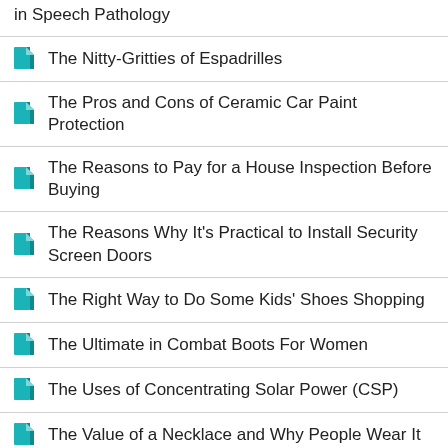in Speech Pathology
The Nitty-Gritties of Espadrilles
The Pros and Cons of Ceramic Car Paint Protection
The Reasons to Pay for a House Inspection Before Buying
The Reasons Why It's Practical to Install Security Screen Doors
The Right Way to Do Some Kids' Shoes Shopping
The Ultimate in Combat Boots For Women
The Uses of Concentrating Solar Power (CSP)
The Value of a Necklace and Why People Wear It
The Value of Gutter Protection
The Value of Seeing a Dentist
The Ways to Take Advantage of Joinery
Things to Know About Commercial Fit Outs